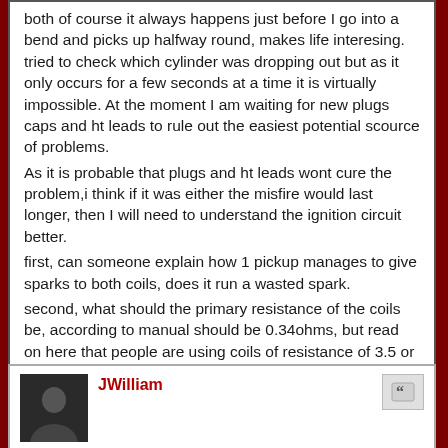both of course it always happens just before I go into a bend and picks up halfway round, makes life interesing. tried to check which cylinder was dropping out but as it only occurs for a few seconds at a time it is virtually impossible. At the moment I am waiting for new plugs caps and ht leads to rule out the easiest potential scource of problems.
As it is probable that plugs and ht leads wont cure the problem,i think if it was either the misfire would last longer, then I will need to understand the ignition circuit better.
first, can someone explain how 1 pickup manages to give sparks to both coils, does it run a wasted spark.
second, what should the primary resistance of the coils be, according to manual should be 0.34ohms, but read on here that people are using coils of resistance of 3.5 or 5 ohms
and finally (for now) has anyone used the alternative digiplex fitted to theLancia Thema 16V or Fiat Croma 1600
Yosemite
JWilliam
Re: engine dropping onto 1 cylinder